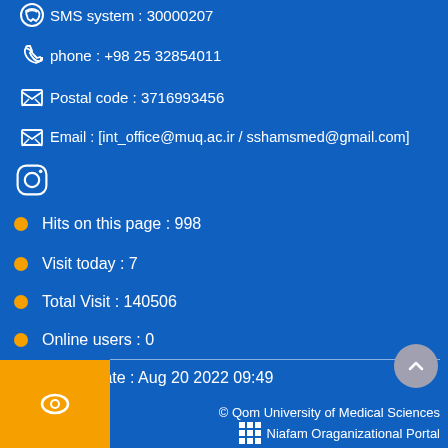SMS system : 30000207
phone : +98 25 32854011
Postal code : 3716993456
Email : [int_office@muq.ac.ir / sshamsmed@gmail.com]
[Figure (logo): Instagram logo icon in white outline]
Hits on this page : 998
Visit today : 7
Total Visit : 140506
Online users : 0
Last update : Aug 20 2022 09:49
[Figure (logo): Orange eye/accessibility icon button]
© Qom University of Medical Sciences
Niafam Oraganizational Portal